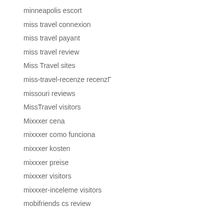minneapolis escort
miss travel connexion
miss travel payant
miss travel review
Miss Travel sites
miss-travel-recenze recenzГ
missouri reviews
MissTravel visitors
Mixxxer cena
mixxxer como funciona
mixxxer kosten
mixxxer preise
mixxxer visitors
mixxxer-inceleme visitors
mobifriends cs review